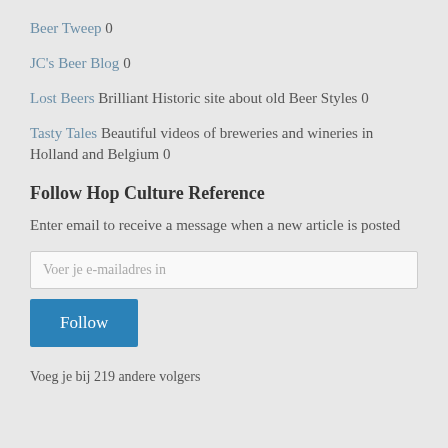Beer Tweep 0
JC's Beer Blog 0
Lost Beers Brilliant Historic site about old Beer Styles 0
Tasty Tales Beautiful videos of breweries and wineries in Holland and Belgium 0
Follow Hop Culture Reference
Enter email to receive a message when a new article is posted
Voer je e-mailadres in
Follow
Voeg je bij 219 andere volgers